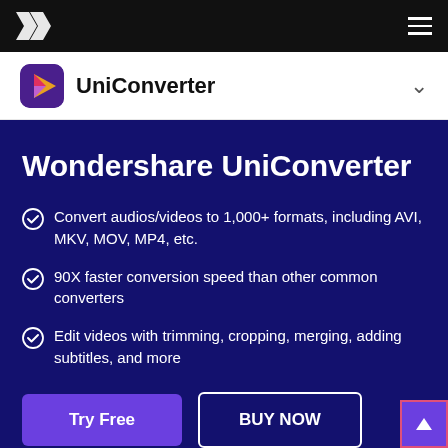Wondershare navigation bar with logo and hamburger menu
[Figure (logo): Wondershare double-W logo in white on black background]
UniConverter
Wondershare UniConverter
Convert audios/videos to 1,000+ formats, including AVI, MKV, MOV, MP4, etc.
90X faster conversion speed than other common converters
Edit videos with trimming, cropping, merging, adding subtitles, and more
Try Free
BUY NOW